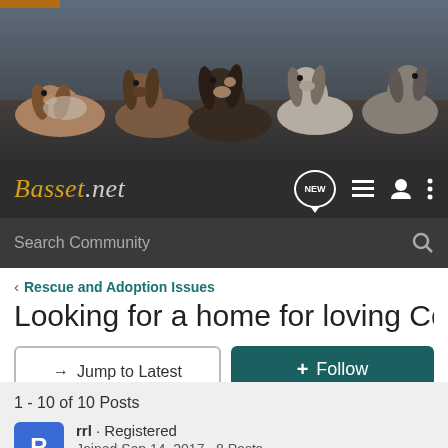[Figure (photo): Group of basset hound dogs sitting and lying together outdoors, banner/hero image for Basset.net website]
Basset.net — navigation bar with NEW badge, list icon, user icon, and more icon
Search Community
< Rescue and Adoption Issues
Looking for a home for loving Cesar
→ Jump to Latest
+ Follow
1 - 10 of 10 Posts
rrl · Registered
Joined Sep 14, 2017 · 8 Posts